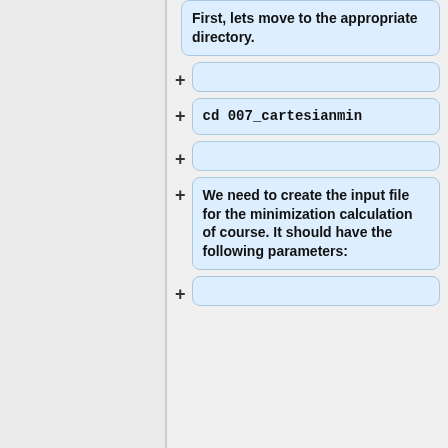First, lets move to the appropriate directory.
cd 007_cartesianmin
We need to create the input file for the minimization calculation of course. It should have the following parameters: